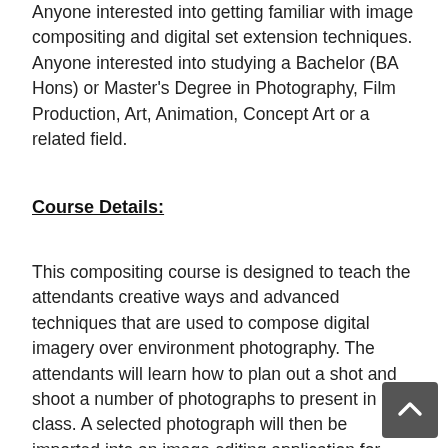Anyone interested into getting familiar with image compositing and digital set extension techniques. Anyone interested into studying a Bachelor (BA Hons) or Master's Degree in Photography, Film Production, Art, Animation, Concept Art or a related field.
Course Details:
This compositing course is designed to teach the attendants creative ways and advanced techniques that are used to compose digital imagery over environment photography. The attendants will learn how to plan out a shot and shoot a number of photographs to present in class. A selected photograph will then be imported into an image editing application for color manipulation, lighting